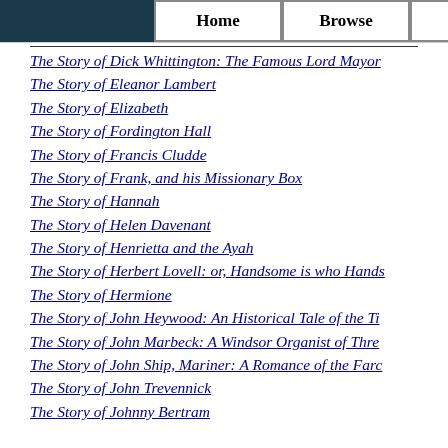Home | Browse
The Story of Dick Whittington: The Famous Lord Mayor
The Story of Eleanor Lambert
The Story of Elizabeth
The Story of Fordington Hall
The Story of Francis Cludde
The Story of Frank, and his Missionary Box
The Story of Hannah
The Story of Helen Davenant
The Story of Henrietta and the Ayah
The Story of Herbert Lovell: or, Handsome is who Hands
The Story of Hermione
The Story of John Heywood: An Historical Tale of the Ti
The Story of John Marbeck: A Windsor Organist of Thre
The Story of John Ship, Mariner: A Romance of the Farc
The Story of John Trevennick
The Story of Johnny Bertram